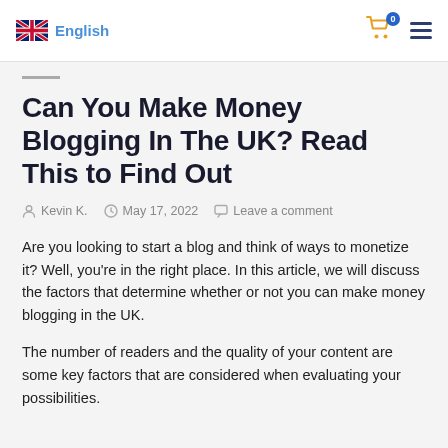English | Cart (0) | Menu
Can You Make Money Blogging In The UK? Read This to Find Out
Kevin K.   May 17, 2022   Leave a comment
Are you looking to start a blog and think of ways to monetize it? Well, you're in the right place. In this article, we will discuss the factors that determine whether or not you can make money blogging in the UK.
The number of readers and the quality of your content are some key factors that are considered when evaluating your possibilities.